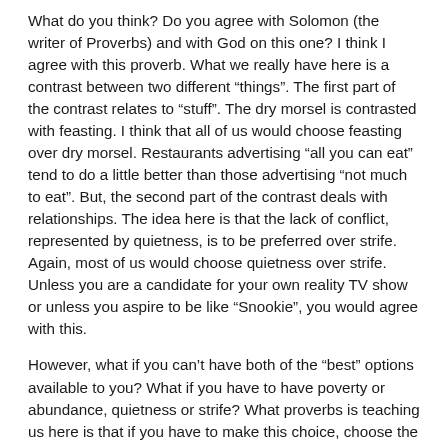What do you think?  Do you agree with Solomon (the writer of Proverbs) and with God on this one?  I think I agree with this proverb.  What we really have here is a contrast between two different “things”.  The first part of the contrast relates to “stuff”.  The dry morsel is contrasted with feasting.  I think that all of us would choose feasting over dry morsel.  Restaurants advertising “all you can eat” tend to do a little better than those advertising “not much to eat”.   But, the second part of the contrast deals with relationships.  The idea here is that the lack of conflict, represented by quietness, is to be preferred over strife.  Again, most of us would choose quietness over strife.  Unless you are a candidate for your own reality TV show or unless you aspire to be like “Snookie”, you would agree with this.
However, what if you can’t have both of the “best” options available to you?  What if you have to have poverty or abundance, quietness or strife?  What proverbs is teaching us here is that if you have to make this choice, choose the relationship over the stuff.  Choose a lack of strife even if it means going a little hungry over strife that might be caused by acquiring the stuff for feasting.  This applies in many ways.  First,